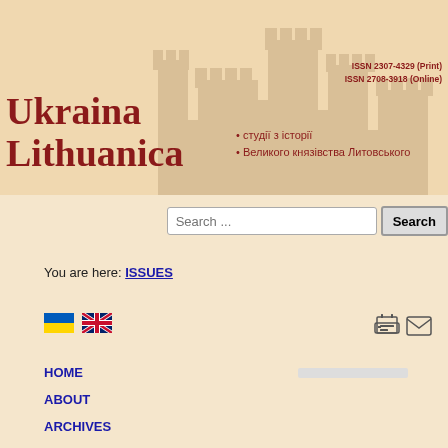[Figure (screenshot): Journal banner with title Ukraina Lithuanica, subtitle in Ukrainian, ISSN numbers, and faint castle watermark in background]
ISSN 2307-4329 (Print)
ISSN 2708-3918 (Online)
Ukraina Lithuanica
• студії з історії
• Великого князівства Литовського
Search ...
You are here: ISSUES
[Figure (illustration): Ukrainian flag icon]
[Figure (illustration): UK/British flag icon]
[Figure (illustration): Print icon]
[Figure (illustration): Email/envelope icon]
HOME
ABOUT
ARCHIVES